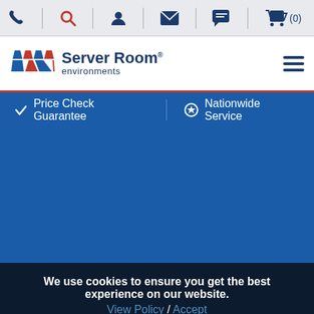Icon navigation bar with phone, search, account, mail, chat, and cart (0) icons
[Figure (logo): Server Room environments logo with geometric blue and red trapezoid icon and text]
Price Check Guarantee  Nationwide Service
[Figure (photo): Large blue background area (hero image area)]
We use cookies to ensure you get the best experience on our website. View Policy / Accept